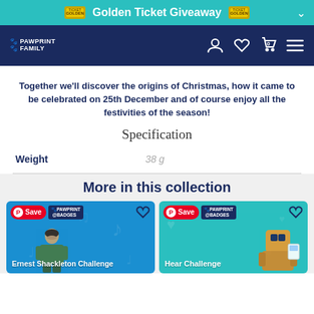Golden Ticket Giveaway
[Figure (screenshot): Pawprint Family website navigation bar with logo and icons]
Together we'll discover the origins of Christmas, how it came to be celebrated on 25th December and of course enjoy all the festivities of the season!
Specification
|  |  |
| --- | --- |
| Weight | 38 g |
More in this collection
[Figure (screenshot): Ernest Shackleton Challenge product card with Save button and heart icon on blue background]
[Figure (screenshot): Hear Challenge product card with Save button and heart icon on teal background]